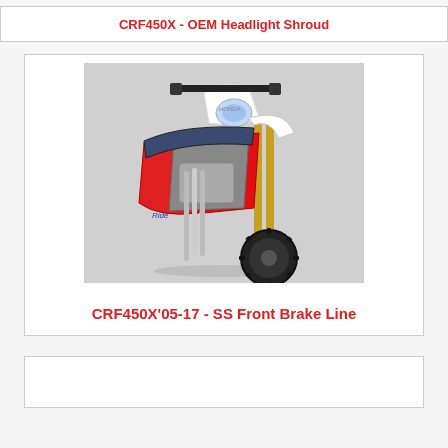CRF450X - OEM Headlight Shroud
[Figure (photo): Front view of a Honda CRF450X dirt bike showing white headlight shroud, red side panels, gold front forks, and knobby front tire]
CRF450X'05-17 - SS Front Brake Line